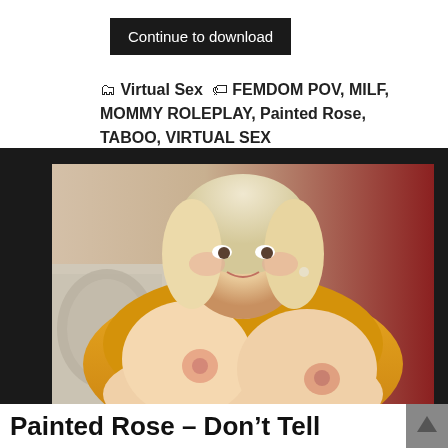Continue to download
Virtual Sex  FEMDOM POV, MILF, MOMMY ROLEPLAY, Painted Rose, TABOO, VIRTUAL SEX
[Figure (photo): Blonde woman in yellow sweater]
Painted Rose – Don't Tell